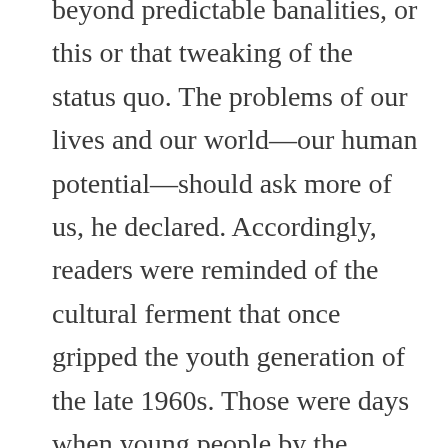beyond predictable banalities, or this or that tweaking of the status quo. The problems of our lives and our world—our human potential—should ask more of us, he declared. Accordingly, readers were reminded of the cultural ferment that once gripped the youth generation of the late 1960s. Those were days when young people by the millions questioned the status quo, challenging